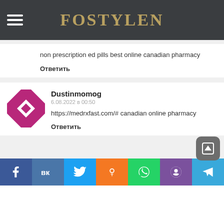FOSTYLEN
non prescription ed pills best online canadian pharmacy
Ответить
[Figure (illustration): Purple/magenta geometric avatar icon with diamond/cross pattern]
Dustinmomog
6.08.2022 в 00:50
https://medrxfast.com/# canadian online pharmacy
Ответить
Social share bar: Facebook, VK, Twitter, Odnoklassniki, WhatsApp, Viber, Telegram